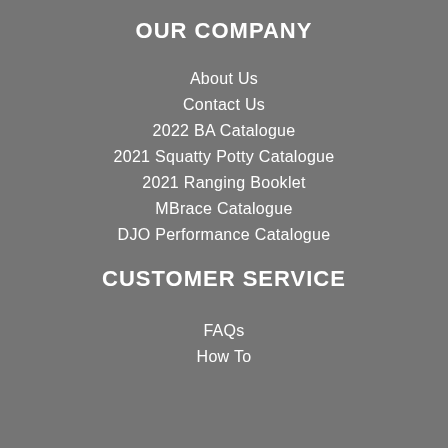OUR COMPANY
About Us
Contact Us
2022 BA Catalogue
2021 Squatty Potty Catalogue
2021 Ranging Booklet
MBrace Catalogue
DJO Performance Catalogue
CUSTOMER SERVICE
FAQs
How To